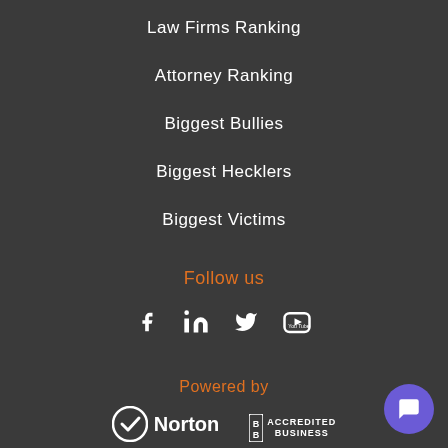Law Firms Ranking
Attorney Ranking
Biggest Bullies
Biggest Hecklers
Biggest Victims
Follow us
[Figure (other): Social media icons: Facebook, LinkedIn, Twitter, YouTube]
Powered by
[Figure (logo): Norton logo with checkmark and BBB Accredited Business logo]
[Figure (other): Chat button widget]